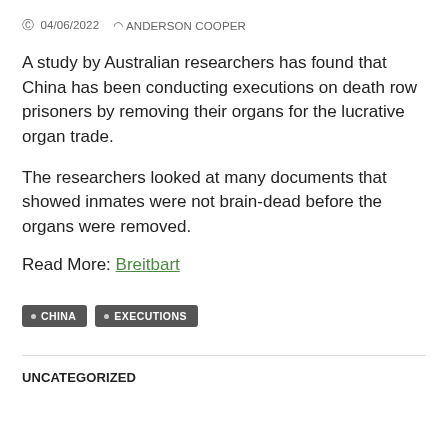04/06/2022  ANDERSON COOPER
A study by Australian researchers has found that China has been conducting executions on death row prisoners by removing their organs for the lucrative organ trade.
The researchers looked at many documents that showed inmates were not brain-dead before the organs were removed.
Read More: Breitbart
CHINA
EXECUTIONS
UNCATEGORIZED